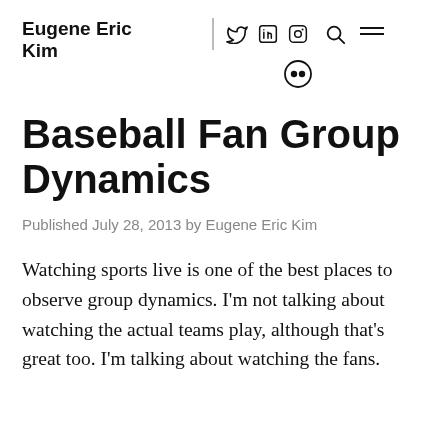Eugene Eric Kim
Baseball Fan Group Dynamics
Published July 28, 2013 by Eugene Eric Kim
Watching sports live is one of the best places to observe group dynamics. I'm not talking about watching the actual teams play, although that's great too. I'm talking about watching the fans.